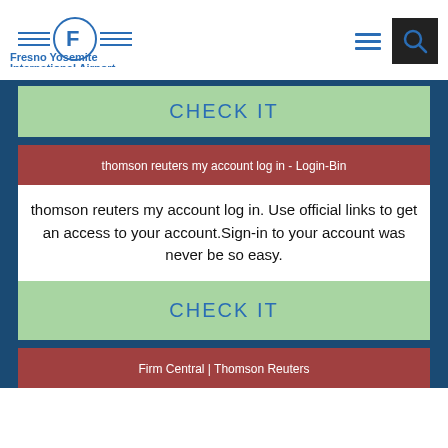[Figure (logo): Fresno Yosemite International Airport logo with stylized F in circle with horizontal lines on sides, and airport name in blue bold text]
CHECK IT
thomson reuters my account log in - Login-Bin
thomson reuters my account log in. Use official links to get an access to your account.Sign-in to your account was never be so easy.
CHECK IT
Firm Central | Thomson Reuters